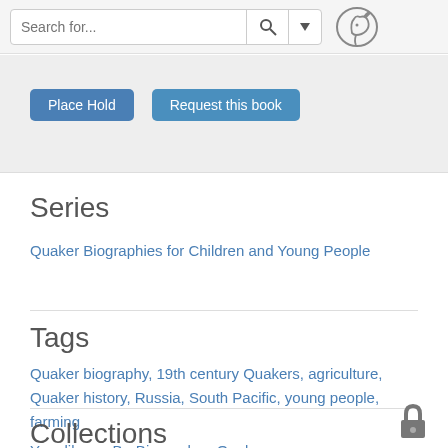[Figure (screenshot): Top navigation bar with search input field showing placeholder 'Search for...', a magnifying glass search button, a dropdown arrow button, and a chipmunk/squirrel logo icon on the right.]
[Figure (screenshot): Gray card area with two blue buttons: 'Place Hold' and 'Request this book']
Series
Quaker Biographies for Children and Young People
Tags
Quaker biography, 19th century Quakers, agriculture, Quaker history, Russia, South Pacific, young people, farming
Collections
Your library, B - Biography - Quaker